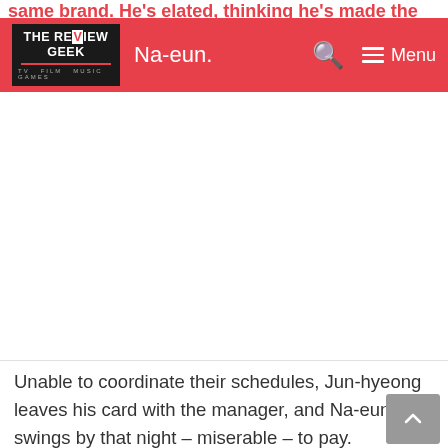same brand. He's elated, thinking he's made the Na-eun.
THE REVIEW GEEK | Na-eun. Menu
[Figure (other): Advertisement placeholder area (white space)]
Unable to coordinate their schedules, Jun-hyeong leaves his card with the manager, and Na-eun swings by that night – miserable – to pay.
The next day, Jun-hyeong weathers a cold front from Na-eun. Min-woo guesses that it's because Jun-